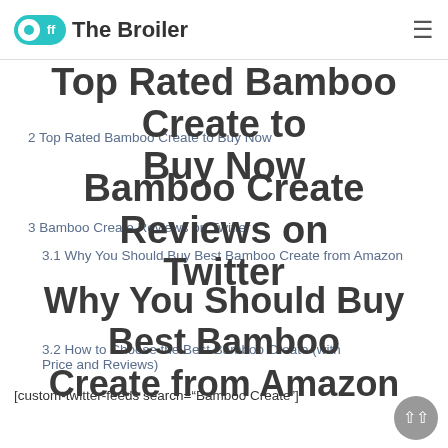Off The Broiler
Top Rated Bamboo Create to Buy Now
2 Top Rated Bamboo Create to Buy Now
Bamboo Create Reviews on Twitter
3 Bamboo Create Reviews on Twitter
3.1 Why You Should Buy Best Bamboo Create from Amazon
Bamboo Create Reviews on Twitter
3.2 How to Choose the Best Bamboo Create (with Price and Reviews)
[custom-twitter-feeds search="Bamboo Create"]
Why You Should Buy Best Bamboo Create from Amazon